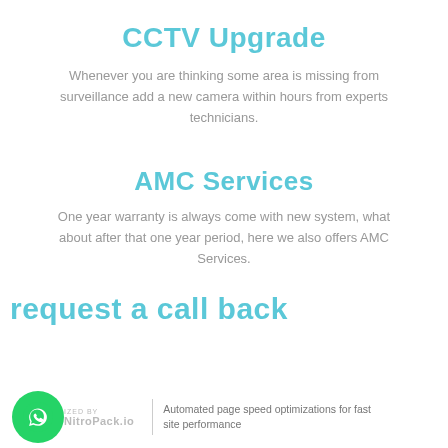CCTV Upgrade
Whenever you are thinking some area is missing from surveillance add a new camera within hours from experts technicians.
AMC Services
One year warranty is always come with new system, what about after that one year period, here we also offers AMC Services.
request a call back
Automated page speed optimizations for fast site performance